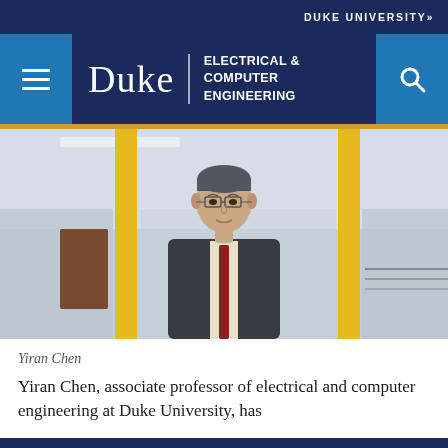DUKE UNIVERSITY»
[Figure (logo): Duke University Electrical & Computer Engineering navigation bar with menu icon, Duke wordmark, department name, and search icon on dark navy background]
[Figure (photo): Professional portrait photo of Yiran Chen, a middle-aged Asian man wearing glasses, a dark suit, white shirt, and dark red striped tie, standing in a modern building interior with yellow columns and glass walls in the background]
Yiran Chen
Yiran Chen, associate professor of electrical and computer engineering at Duke University, has